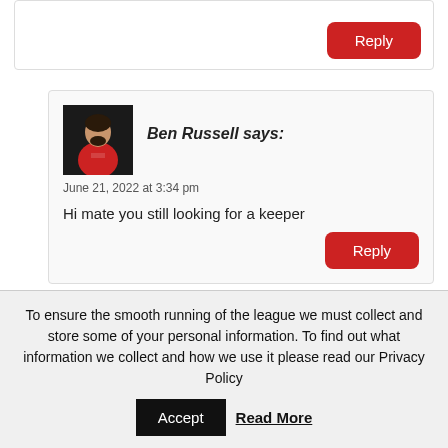[Figure (other): Reply button at top of page for a comment]
[Figure (photo): Profile photo of Ben Russell wearing a red football kit]
Ben Russell says:
June 21, 2022 at 3:34 pm
Hi mate you still looking for a keeper
To ensure the smooth running of the league we must collect and store some of your personal information. To find out what information we collect and how we use it please read our Privacy Policy
Accept
Read More